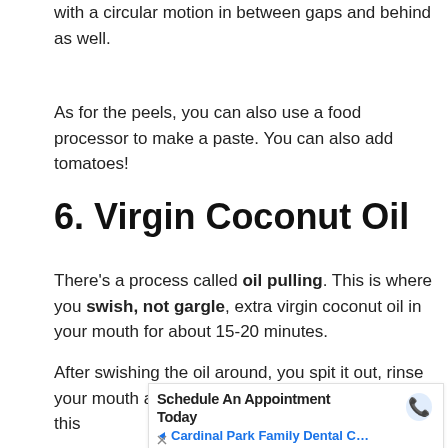with a circular motion in between gaps and behind as well.
As for the peels, you can also use a food processor to make a paste. You can also add tomatoes!
6. Virgin Coconut Oil
There's a process called oil pulling. This is where you swish, not gargle, extra virgin coconut oil in your mouth for about 15-20 minutes.
After swishing the oil around, you spit it out, rinse your mouth and proceed with normal brushing. Do this
[Figure (other): Advertisement banner: Schedule An Appointment Today — Cardinal Park Family Dental C... with a phone icon, close button, and ad marker.]